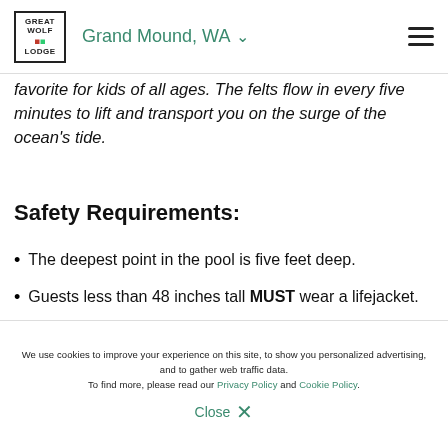Great Wolf Lodge | Grand Mound, WA
favorite for kids of all ages. The felts flow in every five minutes to lift and transport you on the surge of the ocean's tide.
Safety Requirements:
The deepest point in the pool is five feet deep.
Guests less than 48 inches tall MUST wear a lifejacket.
Weak swimmers and non-swimmers should wear a lifejacket and remain in the shallow end.
We use cookies to improve your experience on this site, to show you personalized advertising, and to gather web traffic data. To find more, please read our Privacy Policy and Cookie Policy.